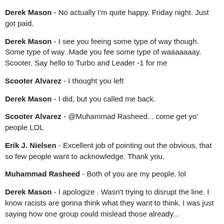Derek Mason - No actually I'm quite happy. Friday night. Just got paid.
Derek Mason - I see you feeing some type of way though. Some type of way .Made you fee some type of waaaaaaay. Scooter. Say hello to Turbo and Leader -1 for me
Scooter Alvarez - I thought you left
Derek Mason - I did, but you called me back.
Scooter Alvarez - @Muhammad Rasheed... come get yo' people LOL
Erik J. Nielsen - Excellent job of pointing out the obvious, that so few people want to acknowledge. Thank you.
Muhammad Rasheed - Both of you are my people. lol
Derek Mason - I apologize . Wasn't trying to disrupt the line. I know racists are gonna think what they want to think. I was just saying how one group could mislead those already...